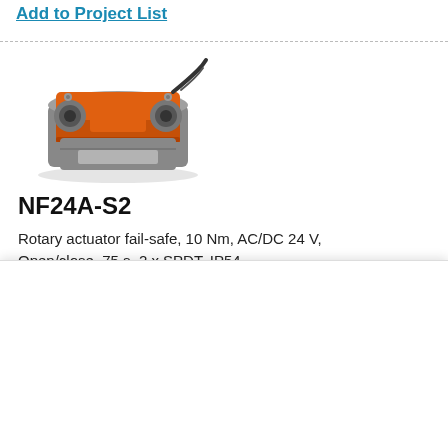Add to Project List
[Figure (photo): Orange and grey rotary actuator product photo - NF24A-S2]
NF24A-S2
Rotary actuator fail-safe, 10 Nm, AC/DC 24 V, Open/close, 75 s, 2 x SPDT, IP54
List price: € 319.00
This website uses cookies
We use cookies to personalise content and ads, to provide social media features and to analyse our traffic. We also share information about your use of our site with our social media, advertising and analytics partners who may combine it with other information that you've provided to them or that they've collected from your use of their services.
Allow selection
Allow all cookies
Necessary
Preferences
Statistics
Marketing
Show details